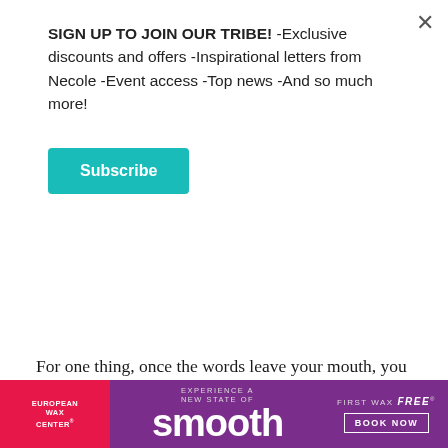SIGN UP TO JOIN OUR TRIBE! -Exclusive discounts and offers -Inspirational letters from Necole -Event access -Top news -And so much more!
Subscribe
issues worse with your friend, gossiping about her is definitely the way to do it.
For one thing, once the words leave your mouth, you can't guarantee that they won't get back to her. Secondly, who's to say that the same human receptacle who's receiving what you're saying
[Figure (infographic): Advertisement for European Wax Center: purple background with red left panel showing 'EUROPEAN WAX CENTER', center text 'EXPERIENCE A NEW STATE OF smooth', right side 'FIRST WAX free BOOK NOW']